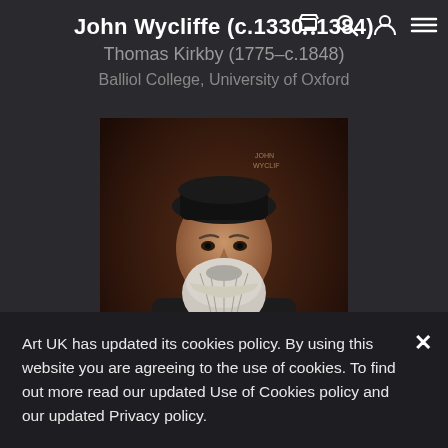John Wycliffe (c.1330–1384)
Thomas Kirkby (1775–c.1848)
Balliol College, University of Oxford
[Figure (photo): Oil portrait painting of John Wycliffe, an older bearded man in dark robes holding a staff, dark background]
Photo credit: Balliol College, University of Oxford
Art UK has updated its cookies policy. By using this website you are agreeing to the use of cookies. To find out more read our updated Use of Cookies policy and our updated Privacy policy.